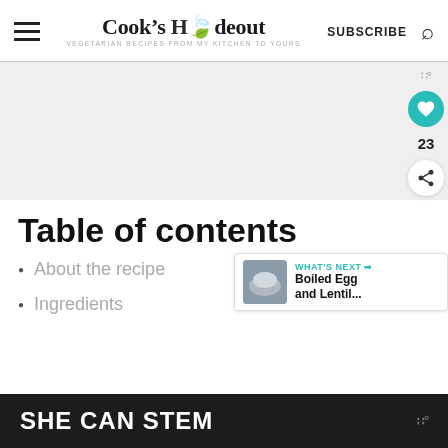Cook's Hideout — VEGETARIAN RECIPES FROM MY KITCHEN TO YOURS — SUBSCRIBE
[Figure (other): Gray advertisement placeholder area]
Table of contents
About the recipe
Ingredients
[Figure (other): What's Next card: Boiled Egg and Lentil...]
SHE CAN STEM